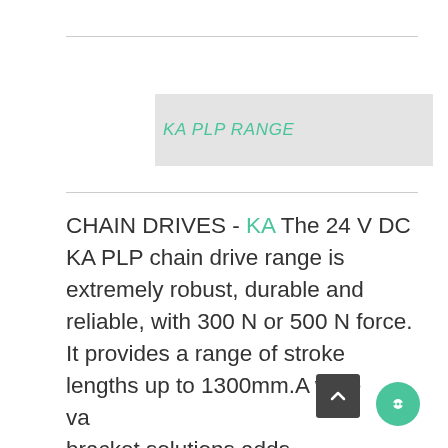KA PLP RANGE
CHAIN DRIVES - KA The 24 V DC KA PLP chain drive range is extremely robust, durable and reliable, with 300 N or 500 N force. It provides a range of stroke lengths up to 1300mm.A wide variety of bracket solutions adds versatility when installing